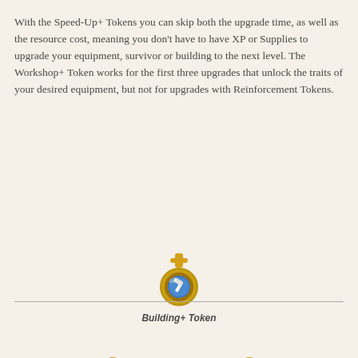With the Speed-Up+ Tokens you can skip both the upgrade time, as well as the resource cost, meaning you don't have to have XP or Supplies to upgrade your equipment, survivor or building to the next level. The Workshop+ Token works for the first three upgrades that unlock the traits of your desired equipment, but not for upgrades with Reinforcement Tokens.
[Figure (illustration): Three token icons arranged in two rows: Workshop+ Token (copper/red gear coin with plus sign) and Training+ Token (silver coin with plus sign) in the first row; Building+ Token (blue coin with hammer and plus sign) in the second row.]
Workshop+ Token
Training+ Token
Building+ Token